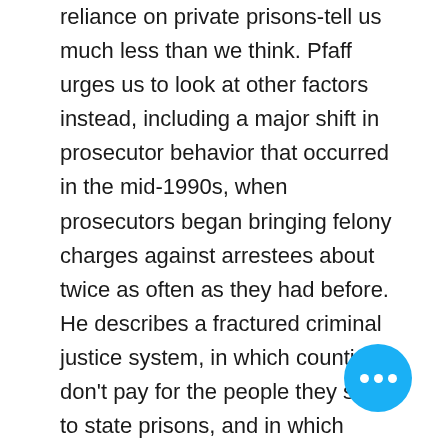reliance on private prisons-tell us much less than we think. Pfaff urges us to look at other factors instead, including a major shift in prosecutor behavior that occurred in the mid-1990s, when prosecutors began bringing felony charges against arrestees about twice as often as they had before. He describes a fractured criminal justice system, in which counties don't pay for the people they send to state prisons, and in which white suburbs set law and order agendas for more-heavily minority cities. And he shows that if we hope to significantly reduce prison populations, we have no choice but to think differently about how to deal with people convicted of violent crimes-and why some people are violent in the first place.